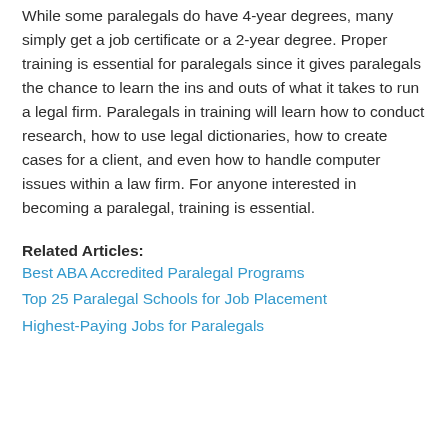While some paralegals do have 4-year degrees, many simply get a job certificate or a 2-year degree. Proper training is essential for paralegals since it gives paralegals the chance to learn the ins and outs of what it takes to run a legal firm. Paralegals in training will learn how to conduct research, how to use legal dictionaries, how to create cases for a client, and even how to handle computer issues within a law firm. For anyone interested in becoming a paralegal, training is essential.
Related Articles:
Best ABA Accredited Paralegal Programs
Top 25 Paralegal Schools for Job Placement
Highest-Paying Jobs for Paralegals